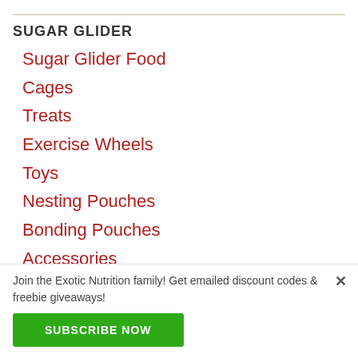SUGAR GLIDER
Sugar Glider Food
Cages
Treats
Exercise Wheels
Toys
Nesting Pouches
Bonding Pouches
Accessories
Join the Exotic Nutrition family! Get emailed discount codes & freebie giveaways!
SUBSCRIBE NOW